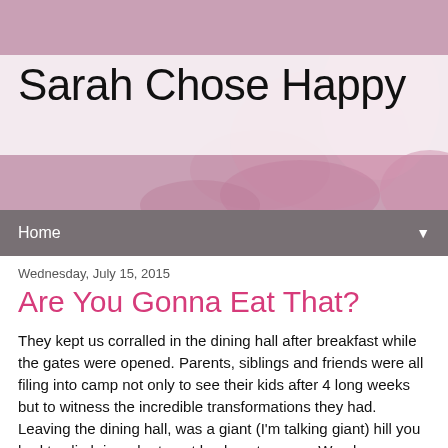Sarah Chose Happy
Home
Wednesday, July 15, 2015
Are You Gonna Eat That?
They kept us corralled in the dining hall after breakfast while the gates were opened. Parents, siblings and friends were all filing into camp not only to see their kids after 4 long weeks but to witness the incredible transformations they had. Leaving the dining hall, was a giant (I'm talking giant) hill you had to climb in order to get back up to camp. We always joked that it was punishment for the food we'd just consumed. Today, we all took it at a sprint. I remember running to my bunk with exceptional speed to get to my parents a little bit faster. My mom was standing in the center with our U-shaped community of bunks around her and she